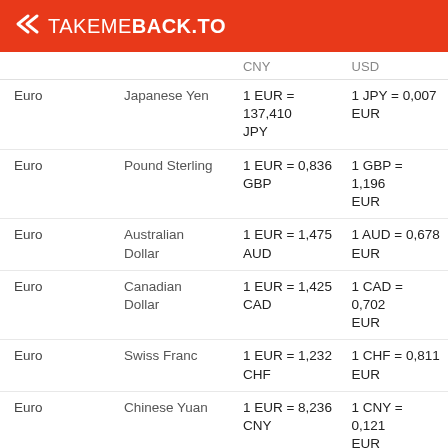TAKEMEBACK.TO
|  |  | CNY | USD |
| --- | --- | --- | --- |
| Euro | Japanese Yen | 1 EUR = 137,410 JPY | 1 JPY = 0,007 EUR |
| Euro | Pound Sterling | 1 EUR = 0,836 GBP | 1 GBP = 1,196 EUR |
| Euro | Australian Dollar | 1 EUR = 1,475 AUD | 1 AUD = 0,678 EUR |
| Euro | Canadian Dollar | 1 EUR = 1,425 CAD | 1 CAD = 0,702 EUR |
| Euro | Swiss Franc | 1 EUR = 1,232 CHF | 1 CHF = 0,811 EUR |
| Euro | Chinese Yuan | 1 EUR = 8,236 CNY | 1 CNY = 0,121 EUR |
| Japanese Yen | Pound Sterling | 1 JPY = 0,609 GBP | 1 GBP = 1,643 JPY |
| Japanese Yen | Australian Dollar | 1 JPY = 1,073 AUD | 1 AUD = 0,932 JPY |
| Japanese Yen | Canadian Dollar | 1 JPY = 1,036 ... | 1 CAD = 0,965 ... |